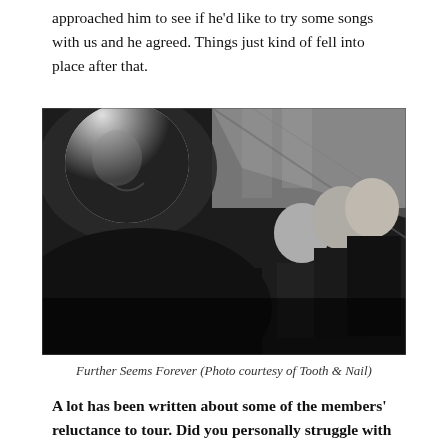approached him to see if he'd like to try some songs with us and he agreed. Things just kind of fell into place after that.
[Figure (photo): Black and white low-angle band photo of Further Seems Forever, showing four members dressed in black with an indoor ceiling/window backdrop]
Further Seems Forever (Photo courtesy of Tooth & Nail)
A lot has been written about some of the members' reluctance to tour. Did you personally struggle with